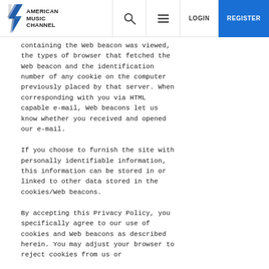American Music Channel — LOGIN | REGISTER
containing the Web beacon was viewed, the types of browser that fetched the Web beacon and the identification number of any cookie on the computer previously placed by that server. When corresponding with you via HTML capable e-mail, Web beacons let us know whether you received and opened our e-mail.
If you choose to furnish the site with personally identifiable information, this information can be stored in or linked to other data stored in the cookies/Web beacons.
By accepting this Privacy Policy, you specifically agree to our use of cookies and Web beacons as described herein. You may adjust your browser to reject cookies from us or